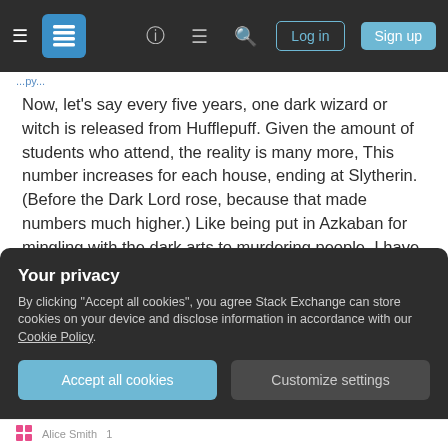[Figure (screenshot): Website navigation bar with hamburger menu, Stack Exchange logo, help icon, chat icon, search icon, Log in button, and Sign up button on dark background]
Now, let's say every five years, one dark wizard or witch is released from Hufflepuff. Given the amount of students who attend, the reality is many more, This number increases for each house, ending at Slytherin. (Before the Dark Lord rose, because that made numbers much higher.) Like being put in Azkaban for mingling with the dark arts to murdering people. I have no doubt that Gryffindor has produced at least a hundred dark students. After all, the school has been open for over 1000 years.
Your privacy
By clicking "Accept all cookies", you agree Stack Exchange can store cookies on your device and disclose information in accordance with our Cookie Policy.
Accept all cookies   Customize settings